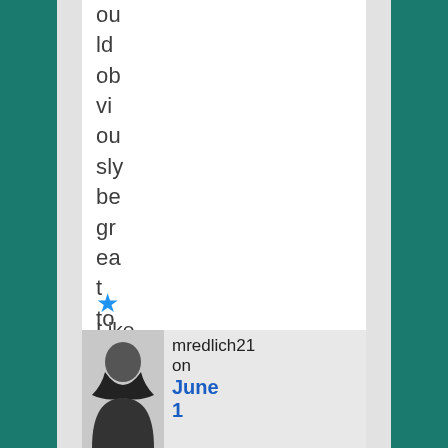ould obviously be great too.
Like
mredlich21 on June 1